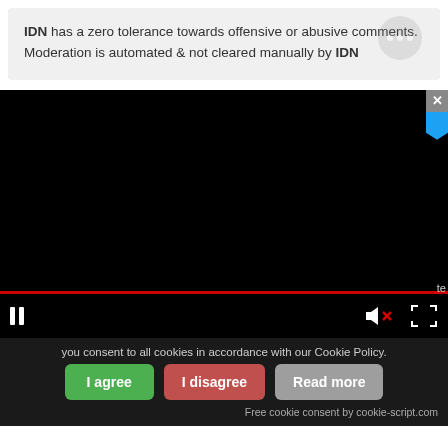IDN has a zero tolerance towards offensive or abusive comments. Moderation is automated & not cleared manually by IDN
[Figure (screenshot): Embedded video player with black video area, red progress bar at bottom, pause button on left, muted speaker icon and fullscreen icon on right. Close button (x) in top right corner, blue bookmark/Twitter icon below it.]
you consent to all cookies in accordance with our Cookie Policy.
I agree
I disagree
Read more
Free cookie consent by cookie-script.com